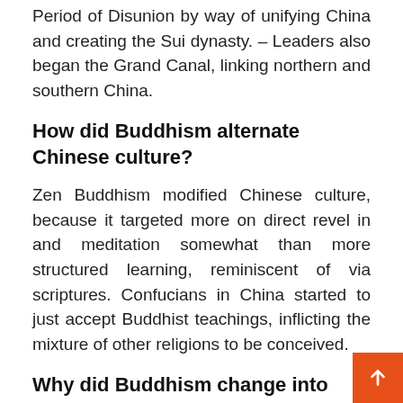Period of Disunion by way of unifying China and creating the Sui dynasty. – Leaders also began the Grand Canal, linking northern and southern China.
How did Buddhism alternate Chinese culture?
Zen Buddhism modified Chinese culture, because it targeted more on direct revel in and meditation somewhat than more structured learning, reminiscent of via scriptures. Confucians in China started to just accept Buddhist teachings, inflicting the mixture of other religions to be conceived.
Why did Buddhism change into popular in China during the period of disunion?